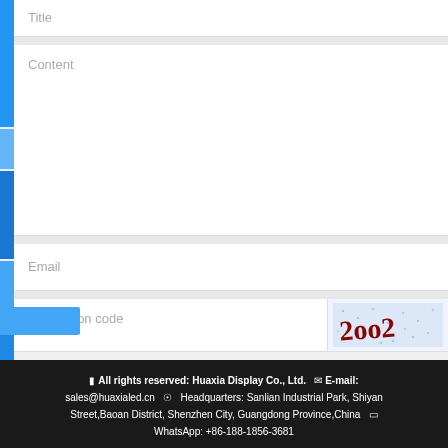Title
Content
Email
Verification code
[Figure (other): CAPTCHA image showing distorted text '2oo2' in dark red on a speckled blue-white background]
Submit
All rights reserved: Huaxia Display Co., Ltd.   E-mail: sales@huaxialed.cn   Headquarters: Sanlian Industrial Park, Shiyan Street,Baoan District, Shenzhen City, Guangdong Province,China   WhatsApp: +86-188-1856-3681